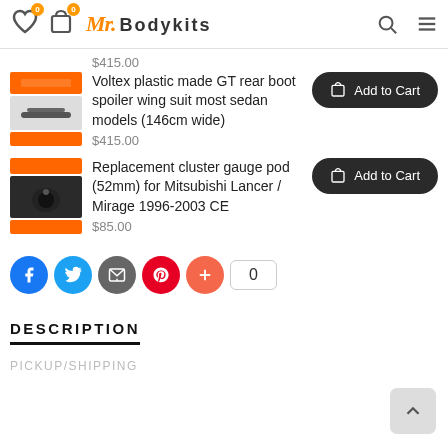Mr. Bodykits — navigation header with wishlist, cart (0), logo, search, menu icons
$415.00
Voltex plastic made GT rear boot spoiler wing suit most sedan models (146cm wide)
$415.00
Replacement cluster gauge pod (52mm) for Mitsubishi Lancer / Mirage 1996-2003 CE
$85.00
[Figure (screenshot): Social sharing buttons: Facebook, Twitter, Email, Pinterest, plus button, and share count showing 0]
DESCRIPTION
PICKUP/SHIPPING